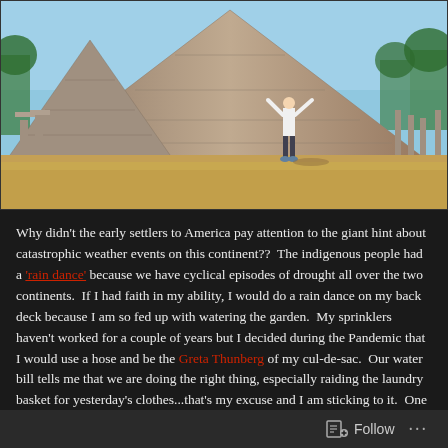[Figure (photo): A person with arms raised standing in front of a large Mayan pyramid ruin on a dry grassy field, with trees in the background and blue sky.]
Why didn't the early settlers to America pay attention to the giant hint about catastrophic weather events on this continent??  The indigenous people had a 'rain dance' because we have cyclical episodes of drought all over the two continents.  If I had faith in my ability, I would do a rain dance on my back deck because I am so fed up with watering the garden.  My sprinklers haven't worked for a couple of years but I decided during the Pandemic that I would use a hose and be the Greta Thunberg of my cul-de-sac.  Our water bill tells me that we are doing the right thing, especially raiding the laundry basket for yesterday's clothes...that's my excuse and I am sticking to it.  One of the things I loved about Egypt was that it was really hot, not everyone had access to water or deodorant.
Follow ...